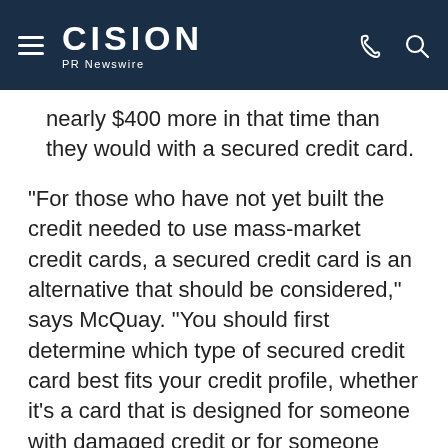CISION PR Newswire
nearly $400 more in that time than they would with a secured credit card.
"For those who have not yet built the credit needed to use mass-market credit cards, a secured credit card is an alternative that should be considered," says McQuay. "You should first determine which type of secured credit card best fits your credit profile, whether it's a card that is designed for someone with damaged credit or for someone with thin credit. Then you can begin saving small amounts of money to act as the cash deposit on your secured credit card. Secured credit cards are designed to encourage good financial behavior and build credit, which will